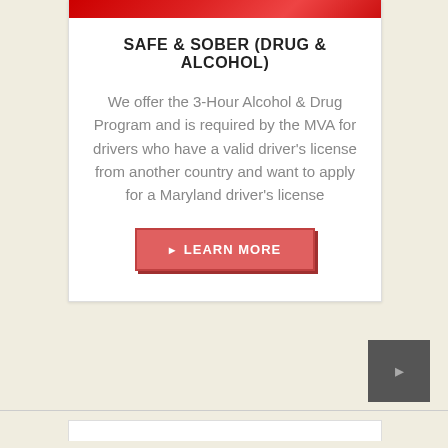[Figure (photo): Red banner/header image at top of card]
SAFE & SOBER (DRUG & ALCOHOL)
We offer the 3-Hour Alcohol & Drug Program and is required by the MVA for drivers who have a valid driver's license from another country and want to apply for a Maryland driver's license
LEARN MORE